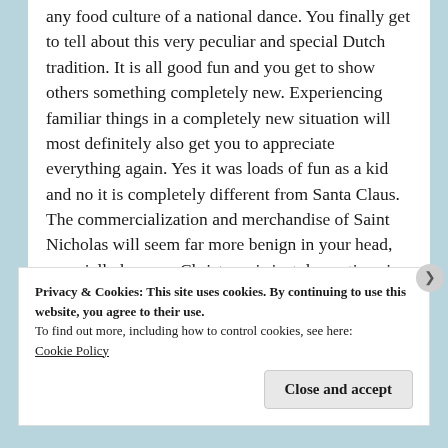any food culture of a national dance. You finally get to tell about this very peculiar and special Dutch tradition. It is all good fun and you get to show others something completely new. Experiencing familiar things in a completely new situation will most definitely also get you to appreciate everything again. Yes it was loads of fun as a kid and no it is completely different from Santa Claus. The commercialization and merchandise of Saint Nicholas will seem far more benign in your head, especially because Christmas is just decorations in many non-
Privacy & Cookies: This site uses cookies. By continuing to use this website, you agree to their use.
To find out more, including how to control cookies, see here:
Cookie Policy
Close and accept